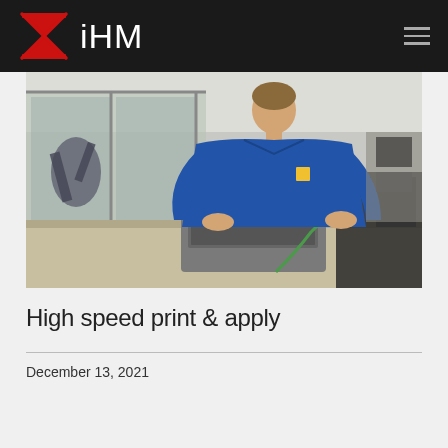iHM
[Figure (photo): A man in a blue polo shirt leaning over a workbench in an industrial facility, working on a grey laptop/rugged computer device. In the background are glass-enclosed manufacturing cells with robotic equipment.]
High speed print & apply
December 13, 2021